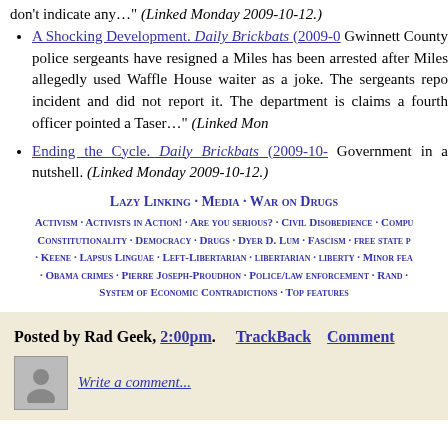don't indicate any…" (Linked Monday 2009-10-12.)
A Shocking Development. Daily Brickbats (2009-0... Gwinnett County police sergeants have resigned a... Miles has been arrested after Miles allegedly used... Waffle House waiter as a joke. The sergeants repo... incident and did not report it. The department is... claims a fourth officer pointed a Taser…" (Linked Mond...
Ending the Cycle. Daily Brickbats (2009-10-... Government in a nutshell. (Linked Monday 2009-10-12.)
Lazy Linking · Media · War on Drugs
ACTIVISM · ACTIVISTS IN ACTION! · ARE YOU SERIOUS? · CIVIL DISOBEDIENCE · COMPU... CONSTITUTIONALITY · DEMOCRACY · DRUGS · DYER D. LUM · FASCISM · FREE STATE P... · KEENE · LAPSUS LINGUAE · LEFT-LIBERTARIAN · LIBERTARIAN · LIBERTY · MINOR FEA... · OBAMA CRIMES · PIERRE JOSEPH-PROUDHON · POLICE/LAW ENFORCEMENT · RAND · ... SYSTEM OF ECONOMIC CONTRADICTIONS · TOP FEATURES
Posted by Rad Geek, 2:00pm. TrackBack Comment
Write a comment...